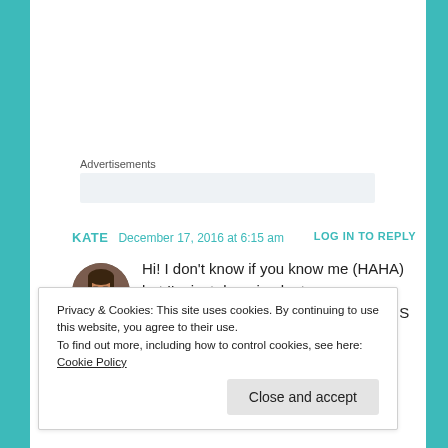Advertisements
KATE  December 17, 2016 at 6:15 am  LOG IN TO REPLY
Hi! I don't know if you know me (HAHA) but I'm just dropping by to say OHMIGOSH YOUR HEADER IMADE IS SO CUTE!!!!!
★ Liked by 1 person
Privacy & Cookies: This site uses cookies. By continuing to use this website, you agree to their use.
To find out more, including how to control cookies, see here: Cookie Policy
Close and accept